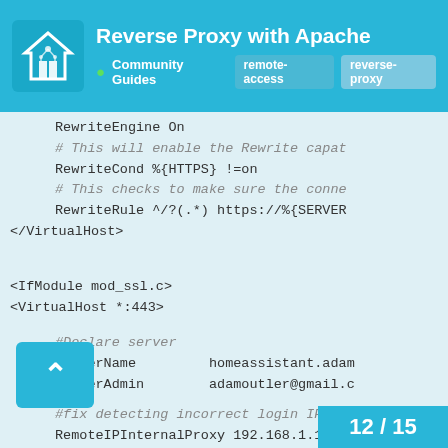Reverse Proxy with Apache | Community Guides | remote-access | reverse-proxy
RewriteEngine On
# This will enable the Rewrite capat
RewriteCond %{HTTPS} !=on
# This checks to make sure the conne
RewriteRule ^/?(.*) https://%{SERVER
</VirtualHost>

<IfModule mod_ssl.c>
<VirtualHost *:443>

#Declare server
ServerName    homeassistant.adam
ServerAdmin   adamoutler@gmail.c

#fix detecting incorrect login IP by
RemoteIPInternalProxy 192.168.1.1  #
RemoteIPHeader X-Forwarded-For

#proxy server setup
12 / 15